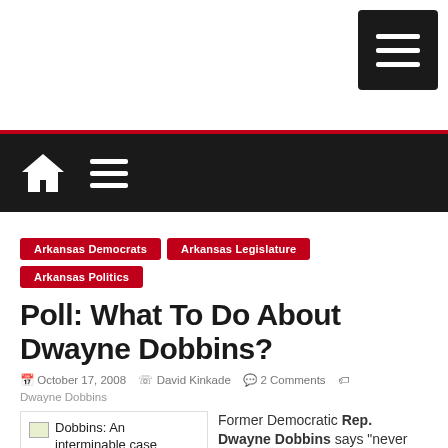[Figure (screenshot): Hamburger menu button (three horizontal white lines on dark background) in top right corner]
[Figure (screenshot): Black navigation bar with white home icon and white hamburger menu icon]
Arkansas Democrats
Arkansas Legislature
Arkansas Politics
Poll: What To Do About Dwayne Dobbins?
October 17, 2008  David Kinkade  2 Comments  Dwayne Dobbins
Dobbins: An interminable case
Former Democratic Rep. Dwayne Dobbins says "never